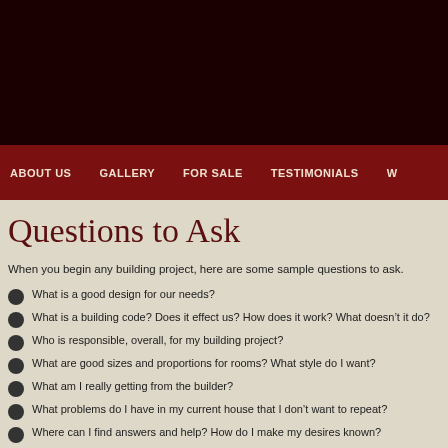ABOUT US  GALLERY  FOR SALE  TESTIMONIALS
Questions to Ask
When you begin any building project, here are some sample questions to ask.
What is a good design for our needs?
What is a building code? Does it effect us? How does it work? What doesn’t it do?
Who is responsible, overall, for my building project?
What are good sizes and proportions for rooms? What style do I want?
What am I really getting from the builder?
What problems do I have in my current house that I don’t want to repeat?
Where can I find answers and help? How do I make my desires known?